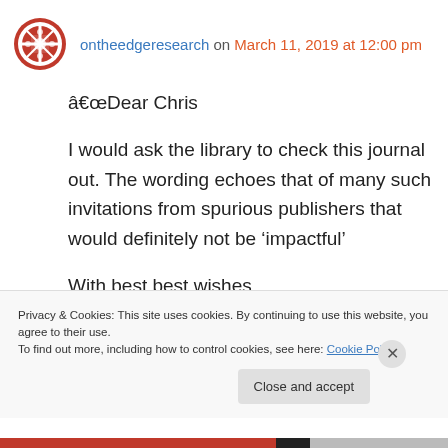ontheedgeresearch on March 11, 2019 at 12:00 pm
âDear Chris

I would ask the library to check this journal out. The wording echoes that of many such invitations from spurious publishers that would definitely not be ‘impactful’

With best best wishes

Anne
Privacy & Cookies: This site uses cookies. By continuing to use this website, you agree to their use.
To find out more, including how to control cookies, see here: Cookie Policy